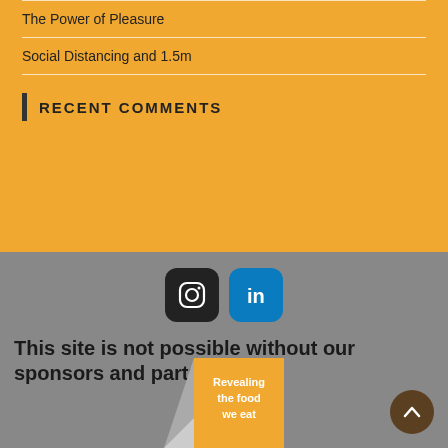The Power of Pleasure
Social Distancing and 1.5m
Recent Comments
[Figure (logo): Instagram icon (dark rounded square with camera outline)]
[Figure (logo): LinkedIn icon (blue rounded square with 'in' text)]
This site is not possible without our sponsors and partners....
[Figure (illustration): Sponsor badge with yellow corner peel showing text 'Revealing the food we eat']